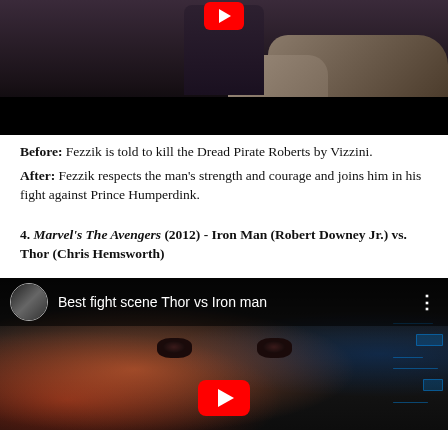[Figure (screenshot): YouTube video screenshot showing a fight scene from The Princess Bride with a figure in dark robes against a rocky outdoor background, with a black bar at bottom and a YouTube play button at top]
Before: Fezzik is told to kill the Dread Pirate Roberts by Vizzini. After: Fezzik respects the man's strength and courage and joins him in his fight against Prince Humperdink.
4. Marvel's The Avengers (2012) - Iron Man (Robert Downey Jr.) vs. Thor (Chris Hemsworth)
[Figure (screenshot): YouTube video screenshot titled 'Best fight scene Thor vs Iron man' showing a close-up of Iron Man's eyes with HUD overlay, orange/red glow on left side, blue digital elements on right, and a YouTube play button at center bottom]